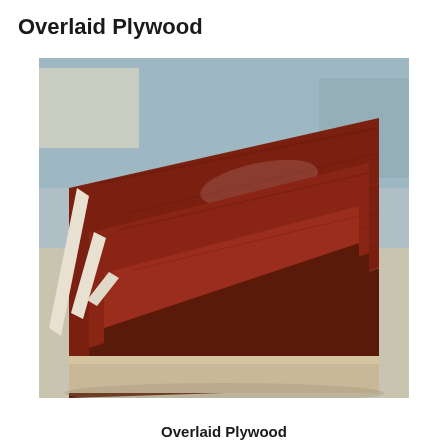Overlaid Plywood
[Figure (photo): Photograph of several sheets of overlaid plywood with a dark reddish-brown woodgrain laminate surface and white edges, stacked and leaning against each other in a warehouse/factory setting with a gray concrete floor and more plywood/materials in the background.]
Overlaid Plywood